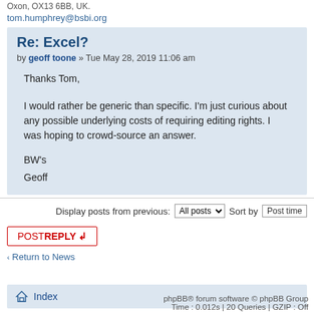Oxon, OX13 6BB, UK.
tom.humphrey@bsbi.org
Re: Excel?
by geoff toone » Tue May 28, 2019 11:06 am
Thanks Tom,

I would rather be generic than specific. I'm just curious about any possible underlying costs of requiring editing rights. I was hoping to crowd-source an answer.

BW's
Geoff
Display posts from previous: All posts  Sort by  Post time
POSTREPLY
‹ Return to News
Index
phpBB® forum software © phpBB Group  Time : 0.012s | 20 Queries | GZIP : Off